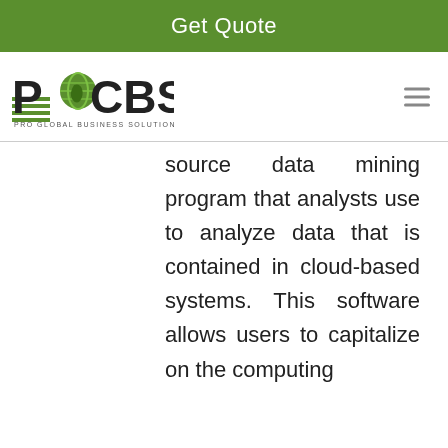Get Quote
[Figure (logo): PCBS Pro Global Business Solutions logo with globe icon and horizontal lines]
source data mining program that analysts use to analyze data that is contained in cloud-based systems. This software allows users to capitalize on the computing